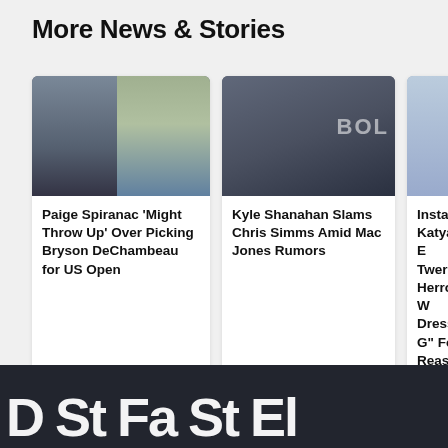More News & Stories
[Figure (photo): Photo collage showing golfer Bryson DeChambeau and Paige Spiranac walking on golf course]
Paige Spiranac 'Might Throw Up' Over Picking Bryson DeChambeau for US Open
[Figure (photo): Close-up photo of Kyle Shanahan at press conference with BOL text in background]
Kyle Shanahan Slams Chris Simms Amid Mac Jones Rumors
[Figure (photo): Partial photo of Instagram model Katya Elise Henry]
Instagr… Katya E… Twerks … Herro W… Dresse… G" For … Reason…
D... Sto... Fashi... Sto... Eli...